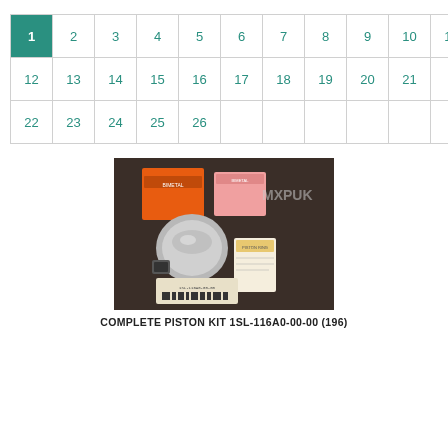| 1 | 2 | 3 | 4 | 5 | 6 | 7 | 8 | 9 | 10 | 11 |
| 12 | 13 | 14 | 15 | 16 | 17 | 18 | 19 | 20 | 21 |  |
| 22 | 23 | 24 | 25 | 26 |  |  |  |  |  |  |
[Figure (photo): Product photo showing a complete piston kit with orange packaging boxes, a piston, piston rings, and documentation on a dark wooden surface. Watermark 'MXPUK' visible.]
COMPLETE PISTON KIT 1SL-116A0-00-00 (196)